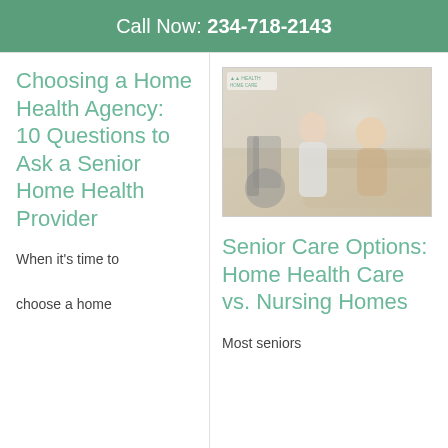Call Now: 234-718-2143
Choosing a Home Health Agency: 10 Questions to Ask a Senior Home Health Provider
When it's time to choose a home
[Figure (photo): A healthcare worker/nurse speaking with an elderly woman seated on a sofa, with a wheelchair visible in the background.]
Senior Care Options: Home Health Care vs. Nursing Homes
Most seniors